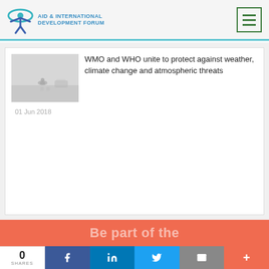[Figure (logo): Aid & International Development Forum logo with teal eye/person icon]
[Figure (photo): Foggy road scene with a motorcyclist and cars barely visible through heavy smog]
WMO and WHO unite to protect against weather, climate change and atmospheric threats
01 Jun 2018
Be part of the
0 SHARES